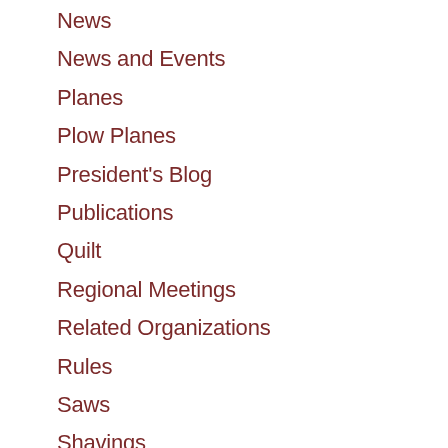News
News and Events
Planes
Plow Planes
President's Blog
Publications
Quilt
Regional Meetings
Related Organizations
Rules
Saws
Shavings
Specialty Planes
Stanley Model Shop